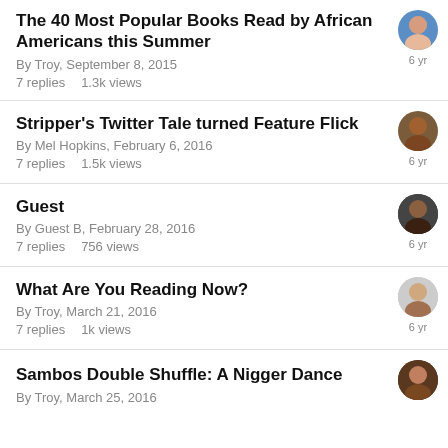The 40 Most Popular Books Read by African Americans this Summer
By Troy, September 8, 2015
7 replies   1.3k views
6 yr
Stripper's Twitter Tale turned Feature Flick
By Mel Hopkins, February 6, 2016
7 replies   1.5k views
6 yr
Guest
By Guest B, February 28, 2016
7 replies   756 views
6 yr
What Are You Reading Now?
By Troy, March 21, 2016
7 replies   1k views
6 yr
Sambos Double Shuffle: A Nigger Dance
By Troy, March 25, 2016